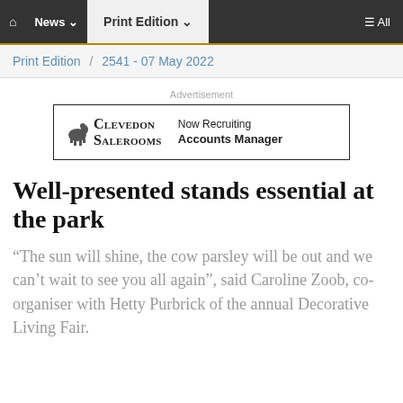🏠 News ∨  Print Edition ∨  ≡ All
Print Edition / 2541 - 07 May 2022
Advertisement
[Figure (other): Clevedon Salerooms advertisement banner: logo with horse and rider icon, text 'CLEVEDON SALEROOMS', and 'Now Recruiting Accounts Manager']
Well-presented stands essential at the park
“The sun will shine, the cow parsley will be out and we can’t wait to see you all again”, said Caroline Zoob, co-organiser with Hetty Purbrick of the annual Decorative Living Fair.